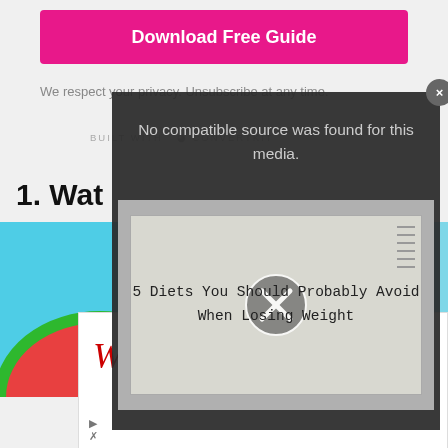[Figure (screenshot): Pink/magenta Download Free Guide button]
We respect your privacy. Unsubscribe at any time.
BUILT WITH ConvertKit
1. Wat
[Figure (screenshot): Video modal overlay showing error: No compatible source was found for this media. Video thumbnail shows handwritten text '5 Diets You Should Probably Avoid When Losing Weight' with X play button.]
[Figure (screenshot): Walgreens advertisement: Wellness Products That Work As Hard As You]